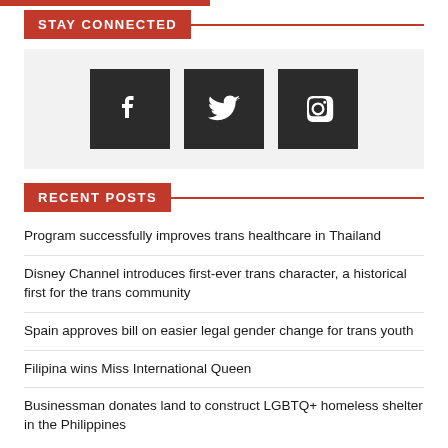STAY CONNECTED
[Figure (infographic): Three dark square social media icons for Facebook, Twitter, and Instagram displayed side by side on a light grey background.]
RECENT POSTS
Program successfully improves trans healthcare in Thailand
Disney Channel introduces first-ever trans character, a historical first for the trans community
Spain approves bill on easier legal gender change for trans youth
Filipina wins Miss International Queen
Businessman donates land to construct LGBTQ+ homeless shelter in the Philippines